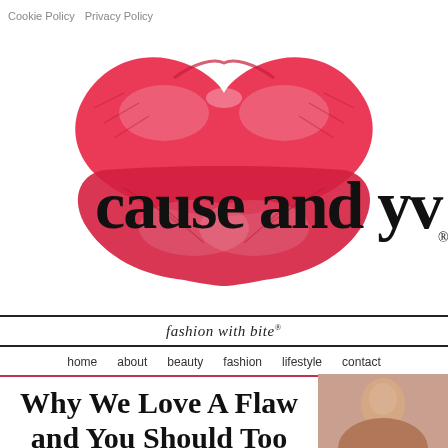Cookie Policy  Privacy Policy
[Figure (logo): Cause and YV brand logo with red lipstick kiss mark and cursive/serif site name 'cause and yv' overlaid, with registered trademark symbol]
fashion with bite®
home   about   beauty  fashion  lifestyle  contact
Why We Love A Flaw and You Should Too
[Figure (photo): Small thumbnail photo of a person, partially visible at bottom right]